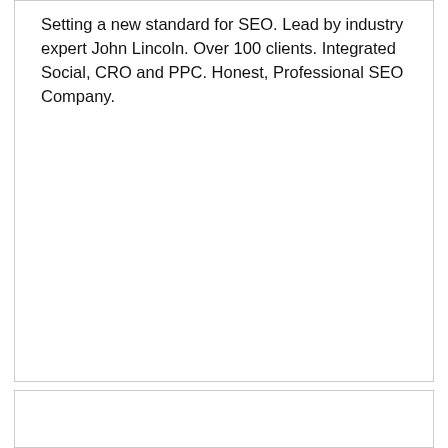Setting a new standard for SEO. Lead by industry expert John Lincoln. Over 100 clients. Integrated Social, CRO and PPC. Honest, Professional SEO Company.